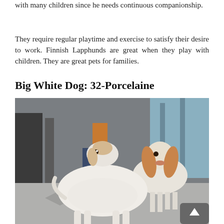with many children since he needs continuous companionship.
They require regular playtime and exercise to satisfy their desire to work. Finnish Lapphunds are great when they play with children. They are great pets for families.
Big White Dog: 32-Porcelaine
[Figure (photo): Two Porcelaine dogs standing in an indoor space. One is mostly white with some tan patches, the other is white with large tan/brown drooping ears. A person's legs and a dark background are visible behind them.]